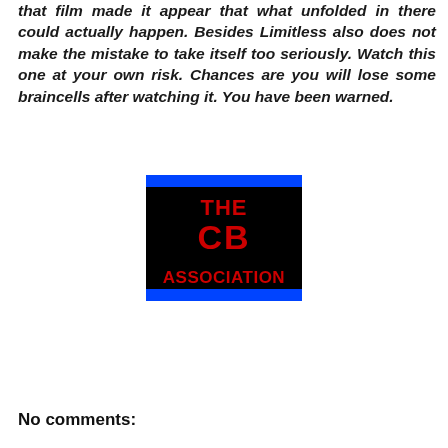that film made it appear that what unfolded in there could actually happen. Besides Limitless also does not make the mistake to take itself too seriously. Watch this one at your own risk. Chances are you will lose some braincells after watching it. You have been warned.
[Figure (logo): The CB Association logo: black background with blue border stripe at top and bottom, red bold text reading 'THE CB ASSOCIATION' stacked vertically.]
No comments: